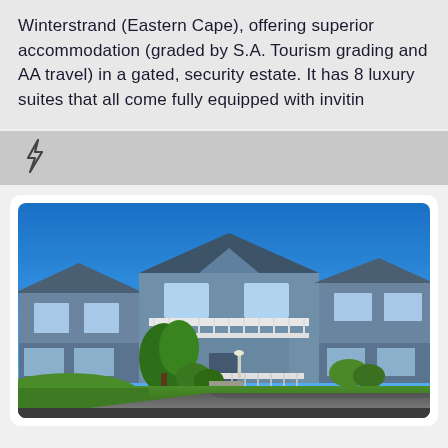Winterstrand (Eastern Cape), offering superior accommodation (graded by S.A. Tourism grading and AA travel) in a gated, security estate. It has 8 luxury suites that all come fully equipped with invitin
[Figure (photo): Exterior photo of a large blue-grey multi-story house/guesthouse under a bright blue sky, with white railings on balconies and decks, surrounded by green trees and lawn, with a driveway in the foreground.]